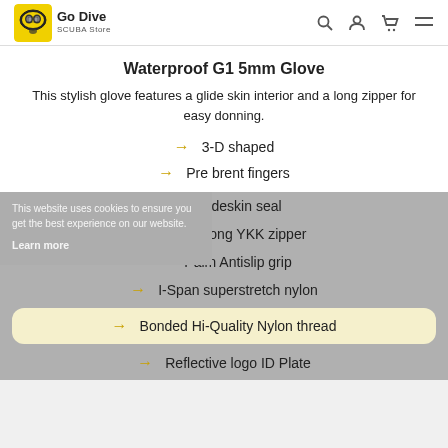Go Dive SCUBA Store
Waterproof G1 5mm Glove
This stylish glove features a glide skin interior and a long zipper for easy donning.
3-D shaped
Pre brent fingers
Glideskin seal
Extra long YKK zipper
Palm Antislip grip
I-Span superstretch nylon
Bonded Hi-Quality Nylon thread
Reflective logo ID Plate
This website uses cookies to ensure you get the best experience on our website. Learn more